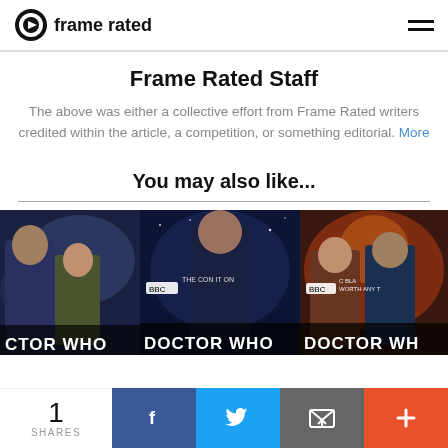frame rated
Frame Rated Staff
The above was either a collective effort from Frame Rated writers credited within the article, a competition, or something editorial. More
You may also like...
[Figure (photo): Four Doctor Who promotional images showing characters from the show]
1 SHARES